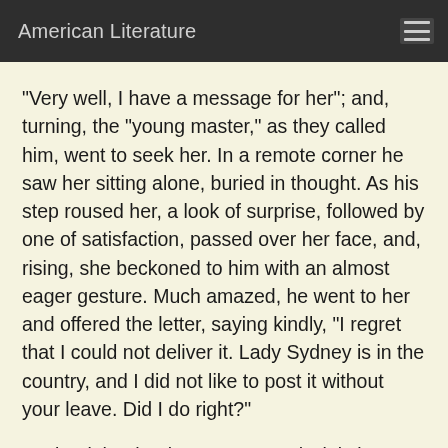American Literature
"Very well, I have a message for her"; and, turning, the "young master," as they called him, went to seek her. In a remote corner he saw her sitting alone, buried in thought. As his step roused her, a look of surprise, followed by one of satisfaction, passed over her face, and, rising, she beckoned to him with an almost eager gesture. Much amazed, he went to her and offered the letter, saying kindly, "I regret that I could not deliver it. Lady Sydney is in the country, and I did not like to post it without your leave. Did I do right?"
"Quite right, thank you very much--it is better so."